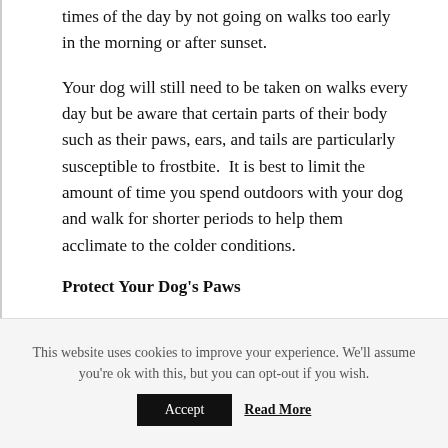times of the day by not going on walks too early in the morning or after sunset.
Your dog will still need to be taken on walks every day but be aware that certain parts of their body such as their paws, ears, and tails are particularly susceptible to frostbite.  It is best to limit the amount of time you spend outdoors with your dog and walk for shorter periods to help them acclimate to the colder conditions.
Protect Your Dog's Paws
Your dog's paws are tough, but they can still be at risk of frostbite and become dry, chapped, or cracked. You can protect their paws and offer them warmth by putting on some dog booties when going on walks. In addition to the
This website uses cookies to improve your experience. We'll assume you're ok with this, but you can opt-out if you wish.
Accept
Read More